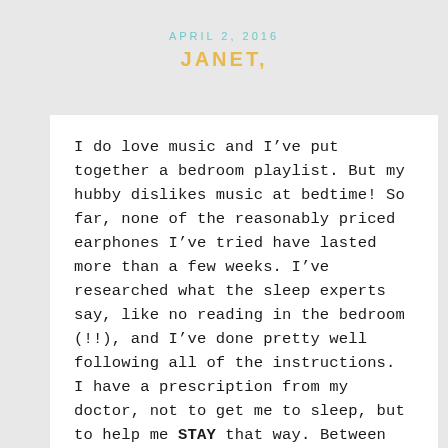APRIL 2, 2016
JANET,
I do love music and I’ve put together a bedroom playlist. But my hubby dislikes music at bedtime! So far, none of the reasonably priced earphones I’ve tried have lasted more than a few weeks. I’ve researched what the sleep experts say, like no reading in the bedroom (!!), and I’ve done pretty well following all of the instructions. I have a prescription from my doctor, not to get me to sleep, but to help me STAY that way. Between other problems and my 62 year old bladder, the medicine doesn’td help much. The only thing that everyone agrees we need, but we absolutely CANNOT afford, is a new mattress. Ours is about 14 years old, and